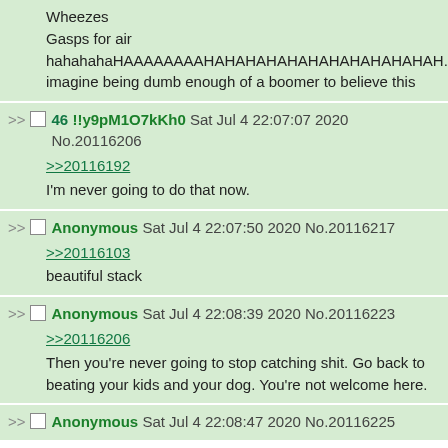Wheezes
Gasps for air
hahahahaHAAAAAAAAHAHAHAHAHAHAHAHAHAHAHAHAH.
imagine being dumb enough of a boomer to believe this
46 !!y9pM1O7kKh0 Sat Jul 4 22:07:07 2020 No.20116206
>>20116192
I'm never going to do that now.
Anonymous Sat Jul 4 22:07:50 2020 No.20116217
>>20116103
beautiful stack
Anonymous Sat Jul 4 22:08:39 2020 No.20116223
>>20116206
Then you're never going to stop catching shit. Go back to beating your kids and your dog. You're not welcome here.
Anonymous Sat Jul 4 22:08:47 2020 No.20116225